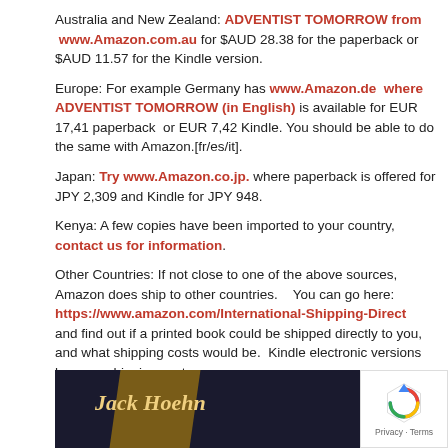Australia and New Zealand:  ADVENTIST TOMORROW from www.Amazon.com.au for $AUD 28.38 for the paperback or $AUD 11.57 for the Kindle version.
Europe:  For example Germany has www.Amazon.de  where ADVENTIST TOMORROW (in English) is available for EUR 17,41 paperback  or EUR 7,42 Kindle. You should be able to do the same with Amazon.[fr/es/it].
Japan:  Try www.Amazon.co.jp. where paperback is offered for JPY 2,309 and Kindle for JPY 948.
Kenya:  A few copies have been imported to your country, contact us for information.
Other Countries: If not close to one of the above sources, Amazon does ship to other countries.    You can go here:  https://www.amazon.com/International-Shipping-Direct  and find out if a printed book could be shipped directly to you, and what shipping costs would be.  Kindle electronic versions have no shipping costs.
[Figure (photo): Bottom portion of a book cover showing dark background with 'Jack Hoehn' text in gold italic font and a brown/gold book spine element]